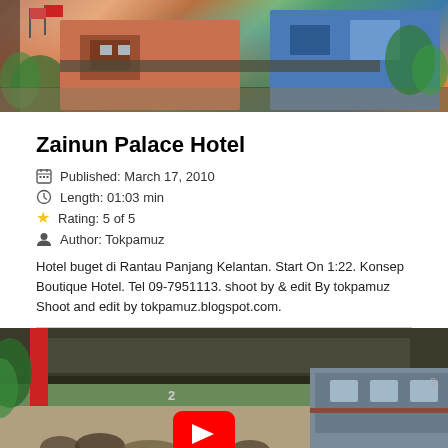[Figure (photo): Exterior photo of Zainun Palace Hotel building, colorful tropical setting]
Zainun Palace Hotel
Published: March 17, 2010
Length: 01:03 min
Rating: 5 of 5
Author: Tokpamuz
Hotel buget di Rantau Panjang Kelantan. Start On 1:22. Konsep Boutique Hotel. Tel 09-7951113. shoot by & edit By tokpamuz Shoot and edit by tokpamuz.blogspot.com.
[Figure (screenshot): Video thumbnail of a train station platform with a YouTube play button overlay]